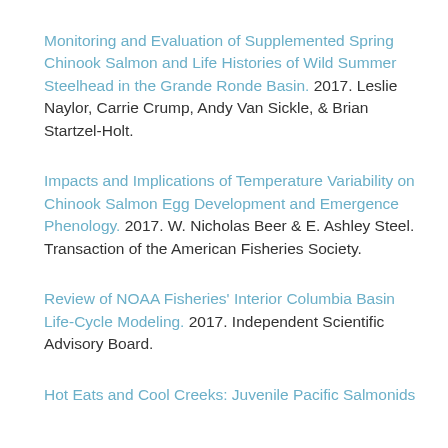Monitoring and Evaluation of Supplemented Spring Chinook Salmon and Life Histories of Wild Summer Steelhead in the Grande Ronde Basin. 2017. Leslie Naylor, Carrie Crump, Andy Van Sickle, & Brian Startzel-Holt.
Impacts and Implications of Temperature Variability on Chinook Salmon Egg Development and Emergence Phenology. 2017. W. Nicholas Beer & E. Ashley Steel. Transaction of the American Fisheries Society.
Review of NOAA Fisheries' Interior Columbia Basin Life-Cycle Modeling. 2017. Independent Scientific Advisory Board.
Hot Eats and Cool Creeks: Juvenile Pacific Salmonids